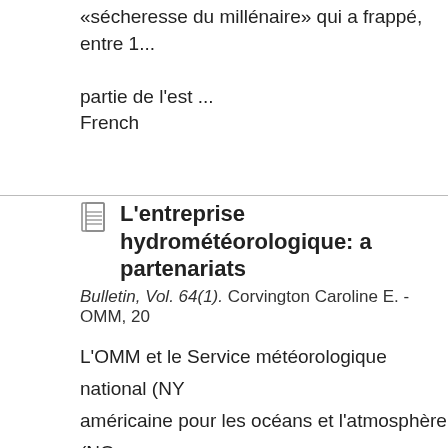«sécheresse du millénaire» qui a frappé, entre 1, partie de l'est ...
French
L'entreprise hydrométéorologique: a partenariats
Bulletin, Vol. 64(1). Corvington Caroline E. - OMM, 20
L'OMM et le Service météorologique national (NY américaine pour les océans et l'atmosphère (NO organisé une réunion internationale en marge de de la Société météorologique américaine (AMS), été l'occasion d'examiner le rôle important et uni